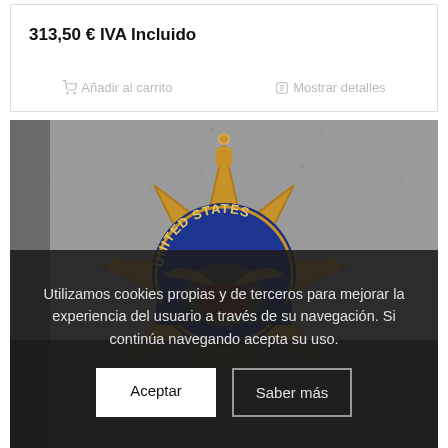313,50 € IVA Incluido
🛒 Añadir al carrito    📋 Mostrar detalles
[Figure (photo): Close-up photo of a gold United States badge (star-shaped) with blue enamel detailing and an eagle emblem, mounted against a granite/stone background]
Utilizamos cookies propias y de terceros para mejorar la experiencia del usuario a través de su navegación. Si continúa navegando acepta su uso.
Aceptar
Saber más